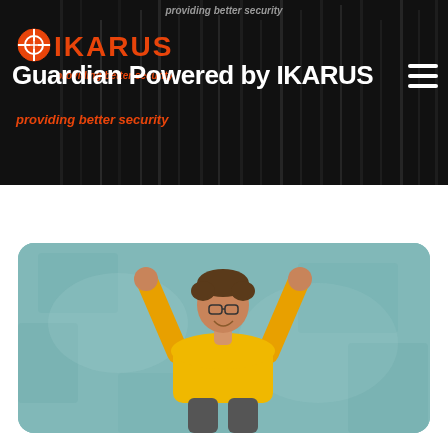[Figure (screenshot): IKARUS security website header banner with logo, tagline 'providing better security', and navigation title 'Guardian Powered by IKARUS' over dark background with vertical bar decoration]
[Figure (photo): Person in yellow shirt jumping with both fists raised in celebration, against a light teal/turquoise painted wall background]